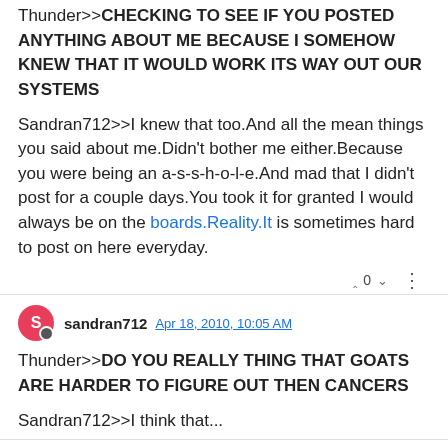Thunder>>CHECKING TO SEE IF YOU POSTED ANYTHING ABOUT ME BECAUSE I SOMEHOW KNEW THAT IT WOULD WORK ITS WAY OUT OUR SYSTEMS
Sandran712>>I knew that too.And all the mean things you said about me.Didn't bother me either.Because you were being an a-s-s-h-o-l-e.And mad that I didn't post for a couple days.You took it for granted I would always be on the boards.Reality.It is sometimes hard to post on here everyday.
sandran712 Apr 18, 2010, 10:05 AM
Thunder>>DO YOU REALLY THING THAT GOATS ARE HARDER TO FIGURE OUT THEN CANCERS
Sandran712>>I think that...